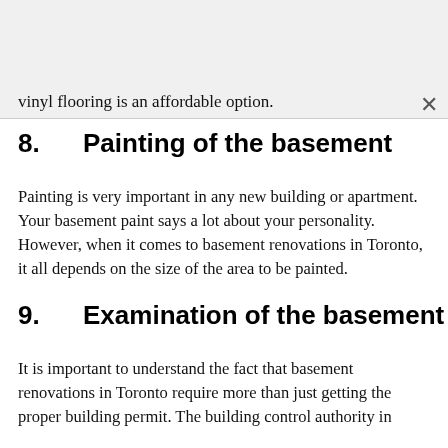vinyl flooring is an affordable option.
8.     Painting of the basement
Painting is very important in any new building or apartment. Your basement paint says a lot about your personality. However, when it comes to basement renovations in Toronto, it all depends on the size of the area to be painted.
9.     Examination of the basement
It is important to understand the fact that basement renovations in Toronto require more than just getting the proper building permit. The building control authority in